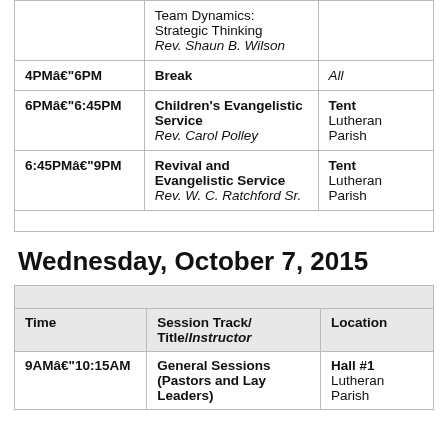| Time | Session Track/Title/Instructor | Location |
| --- | --- | --- |
|  | Team Dynamics: Strategic Thinking
Rev. Shaun B. Wilson |  |
| 4PMâ€"6PM | Break | All |
| 6PMâ€"6:45PM | Children's Evangelistic Service
Rev. Carol Polley | Tent
Lutheran Parish |
| 6:45PMâ€"9PM | Revival and Evangelistic Service
Rev. W. C. Ratchford Sr. | Tent
Lutheran Parish |
Wednesday, October 7, 2015
| Time | Session Track/Title/Instructor | Location |
| --- | --- | --- |
| 9AMâ€"10:15AM | General Sessions (Pastors and Lay Leaders) | Hall #1
Lutheran Parish |